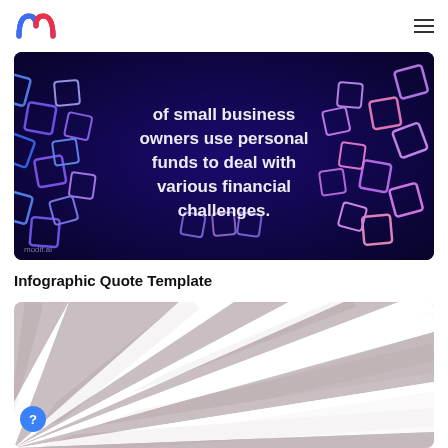modif.ai logo and hamburger menu
[Figure (infographic): Dark blue background with geometric gem/diamond pattern in purple and blue neon colors. White centered text reads: 'of small business owners use personal funds to deal with various financial challenges.' Watermark 'modif.ai' at bottom left.]
Infographic Quote Template
[Figure (infographic): Radiating sunburst pattern with alternating light and dark gray/mauve stripes emanating from bottom-left corner, on a white background.]